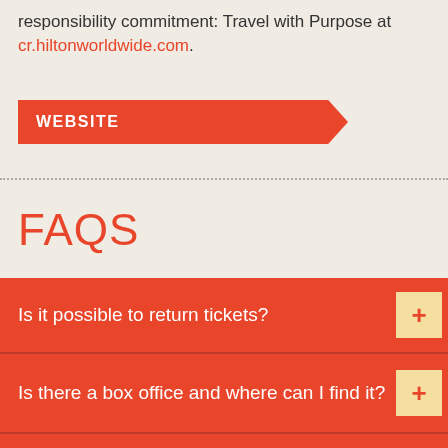responsibility commitment: Travel with Purpose at cr.hiltonworldwide.com.
WEBSITE
FAQS
Is it possible to return tickets?
Is there a box office and where can I find it?
How can I order tickets for events?
Why do concerts at the Musik-Arena